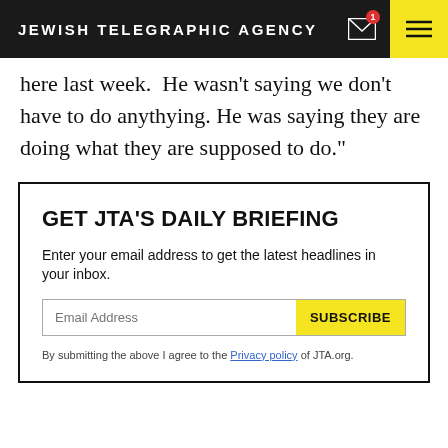JEWISH TELEGRAPHIC AGENCY
here last week. He wasn't saying we don't have to do anythying. He was saying they are doing what they are supposed to do."
GET JTA'S DAILY BRIEFING
Enter your email address to get the latest headlines in your inbox.
Email Address  SUBSCRIBE
By submitting the above I agree to the Privacy policy of JTA.org.